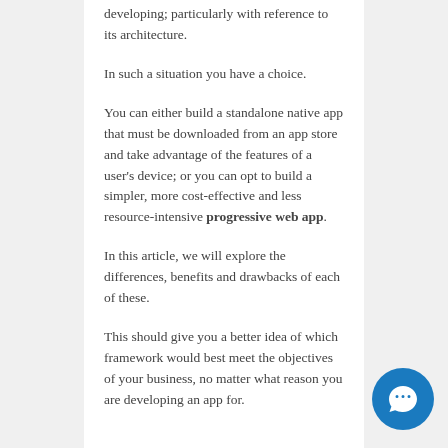developing; particularly with reference to its architecture.
In such a situation you have a choice.
You can either build a standalone native app that must be downloaded from an app store and take advantage of the features of a user's device; or you can opt to build a simpler, more cost-effective and less resource-intensive progressive web app.
In this article, we will explore the differences, benefits and drawbacks of each of these.
This should give you a better idea of which framework would best meet the objectives of your business, no matter what reason you are developing an app for.
[Figure (other): Chat support button - circular blue button with white chat bubble icon in bottom right corner]